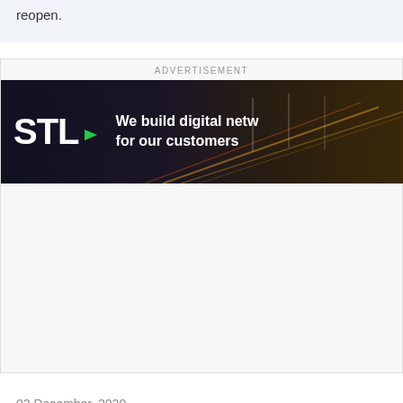reopen.
ADVERTISEMENT
[Figure (illustration): STL advertisement banner with dark background showing road at night with light trails. Logo shows 'STL' with a green arrow. Tagline reads 'We build digital netw for our customers']
02 December, 2020
[Figure (photo): Bottom portion of a photo showing green trees/forest]